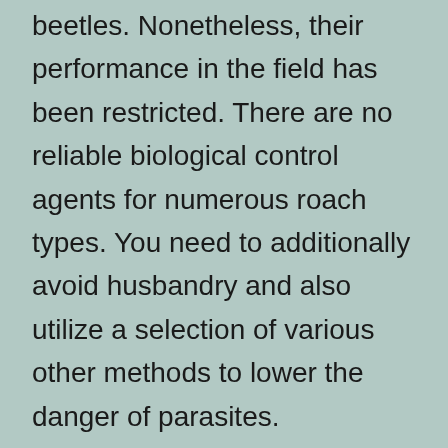beetles. Nonetheless, their performance in the field has been restricted. There are no reliable biological control agents for numerous roach types. You need to additionally avoid husbandry and also utilize a selection of various other methods to lower the danger of parasites.
The benefits of pest control go far beyond securing residences, but they additionally help shield forests and also farm crops. Actually, using chemicals has actually contributed to the control of a variety of illness that can be dangerous to your family's wellness. Aside